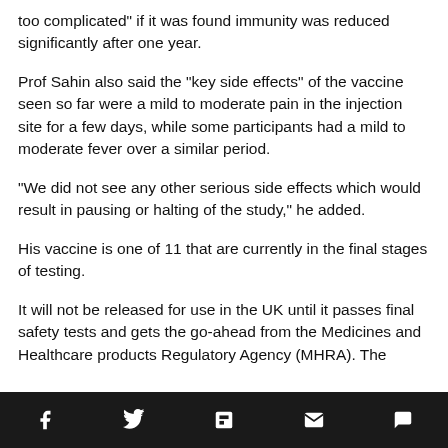too complicated” if it was found immunity was reduced significantly after one year.
Prof Sahin also said the “key side effects” of the vaccine seen so far were a mild to moderate pain in the injection site for a few days, while some participants had a mild to moderate fever over a similar period.
“We did not see any other serious side effects which would result in pausing or halting of the study,” he added.
His vaccine is one of 11 that are currently in the final stages of testing.
It will not be released for use in the UK until it passes final safety tests and gets the go-ahead from the Medicines and Healthcare products Regulatory Agency (MHRA). The
Social share bar: Facebook, Twitter, Flipboard, Email, Comments